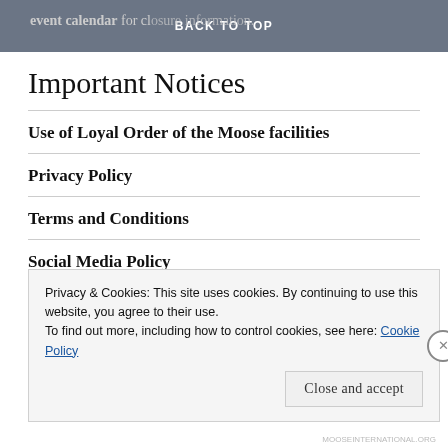BACK TO TOP
Important Notices
Use of Loyal Order of the Moose facilities
Privacy Policy
Terms and Conditions
Social Media Policy
Privacy & Cookies: This site uses cookies. By continuing to use this website, you agree to their use.
To find out more, including how to control cookies, see here: Cookie Policy
Close and accept